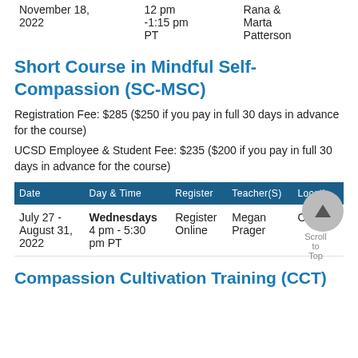| Date | Day & Time | Register | Teacher(S) | Location |
| --- | --- | --- | --- | --- |
| October 14, ... | Fridays | Register Online | Deborah... | Online |
| November 18, 2022 | 12 pm -1:15 pm PT |  | Rana & Marta Patterson |  |
Short Course in Mindful Self-Compassion (SC-MSC)
Registration Fee: $285 ($250 if you pay in full 30 days in advance for the course)
UCSD Employee & Student Fee: $235 ($200 if you pay in full 30 days in advance for the course)
| Date | Day & Time | Register | Teacher(S) | Location |
| --- | --- | --- | --- | --- |
| July 27 - August 31, 2022 | Wednesdays 4 pm - 5:30 pm PT | Register Online | Megan Prager | Online |
Compassion Cultivation Training (CCT)